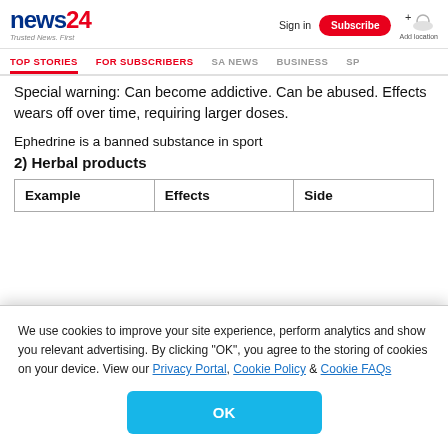news24 - Trusted News. First | Sign in | Subscribe | Add location
TOP STORIES | FOR SUBSCRIBERS | SA NEWS | BUSINESS | SP...
Special warning: Can become addictive. Can be abused. Effects wears off over time, requiring larger doses.
Ephedrine is a banned substance in sport
2) Herbal products
| Example | Effects | Side |
| --- | --- | --- |
We use cookies to improve your site experience, perform analytics and show you relevant advertising. By clicking "OK", you agree to the storing of cookies on your device. View our Privacy Portal, Cookie Policy & Cookie FAQs
OK